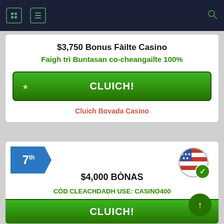$3,750 Bonus Fàilte Casino
Faigh trì Buntasan co-cheangailte 100%
CLUICH!
Cluich Bovada Casino
7th
[Figure (illustration): US flag circular badge with green checkmark]
$4,000 BÒNAS
CÒD CLEACHDADH USE: CASINO400
CLUICH!